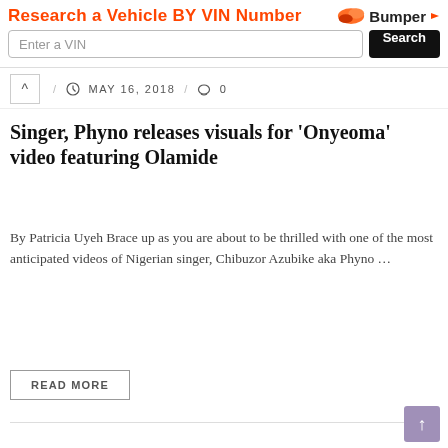[Figure (screenshot): Advertisement banner: 'Research a Vehicle BY VIN Number' with Bumper logo, VIN input field, and Search button]
/ MAY 16, 2018 / 0
Singer, Phyno releases visuals for 'Onyeoma' video featuring Olamide
By Patricia Uyeh Brace up as you are about to be thrilled with one of the most anticipated videos of Nigerian singer, Chibuzor Azubike aka Phyno ...
READ MORE
ALLURE MAGAZINE
MUSIC
NEWS